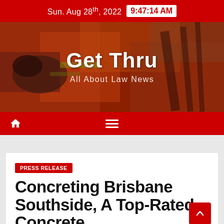Sun. Aug 28th, 2022 | 9:47:14 AM
[Figure (illustration): Get Thru website banner with abstract red/orange painted background, site title 'Get Thru' and tagline 'All About Law News']
Get Thru
All About Law News
PRESS RELEASE
Concreting Brisbane Southside, A Top-Rated Concrete